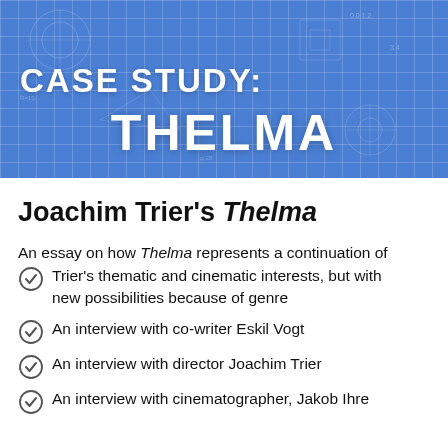[Figure (illustration): Blueprint-style grid background in blue with scattered technical drawings and annotations. Large white bold text reads 'CASE STUDY:' on the first line and 'THELMA' on the second line.]
Joachim Trier's Thelma
An essay on how Thelma represents a continuation of Trier's thematic and cinematic interests, but with new possibilities because of genre
An interview with co-writer Eskil Vogt
An interview with director Joachim Trier
An interview with cinematographer, Jakob Ihre